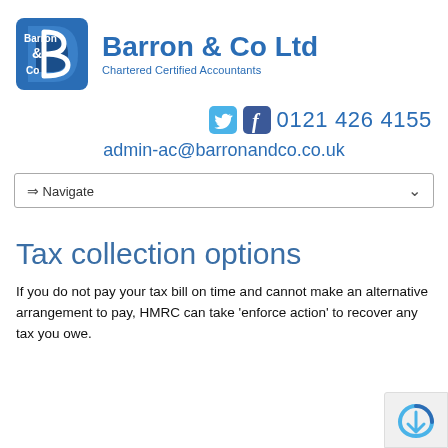[Figure (logo): Barron & Co Ltd logo: a blue D-shape with 'Barron & Co' text in white, alongside company name 'Barron & Co Ltd' and subtitle 'Chartered Certified Accountants' in blue]
0121 426 4155
admin-ac@barronandco.co.uk
⇒ Navigate
Tax collection options
If you do not pay your tax bill on time and cannot make an alternative arrangement to pay, HMRC can take 'enforce action' to recover any tax you owe.